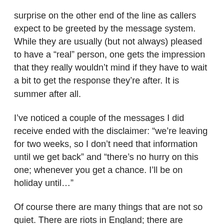surprise on the other end of the line as callers expect to be greeted by the message system. While they are usually (but not always) pleased to have a “real” person, one gets the impression that they really wouldn’t mind if they have to wait a bit to get the response they’re after. It is summer after all.
I’ve noticed a couple of the messages I did receive ended with the disclaimer: “we’re leaving for two weeks, so I don’t need that information until we get back” and “there’s no hurry on this one; whenever you get a chance. I’ll be on holiday until…”
Of course there are many things that are not so quiet. There are riots in England; there are economic crises everywhere. Births and deaths and personal catastrophes go on as usual. Even the summer season brings concern as droughts and famines and floods and earthquakes don’t take holidays.
But I noted with interest, one of the “experts” called by the radio news person to give comment about the London riots explained that “she’d been on vacation and not following events too closely” and was thus not entirely prepared to